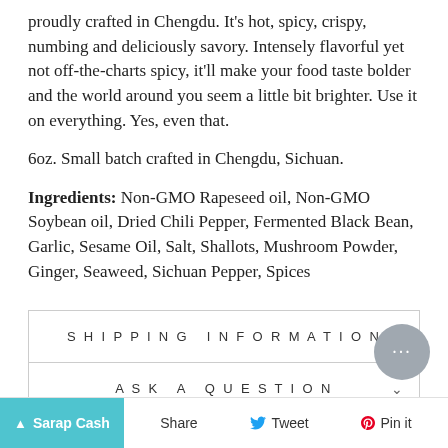proudly crafted in Chengdu. It's hot, spicy, crispy, numbing and deliciously savory. Intensely flavorful yet not off-the-charts spicy, it'll make your food taste bolder and the world around you seem a little bit brighter. Use it on everything. Yes, even that.
6oz. Small batch crafted in Chengdu, Sichuan.
Ingredients: Non-GMO Rapeseed oil, Non-GMO Soybean oil, Dried Chili Pepper, Fermented Black Bean, Garlic, Sesame Oil, Salt, Shallots, Mushroom Powder, Ginger, Seaweed, Sichuan Pepper, Spices
SHIPPING INFORMATION
ASK A QUESTION
Sarap Cash  Share  Tweet  Pin it